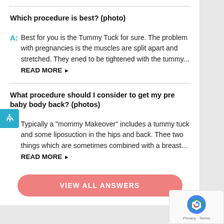Which procedure is best? (photo)
A: Best for you is the Tummy Tuck for sure. The problem with pregnancies is the muscles are split apart and stretched. They ened to be tightened with the tummy... READ MORE ▶
What procedure should I consider to get my pre baby body back? (photos)
A: Typically a "mommy Makeover" includes a tummy tuck and some liposuction in the hips and back. Thee two things which are sometimes combined with a breast... READ MORE ▶
VIEW ALL ANSWERS